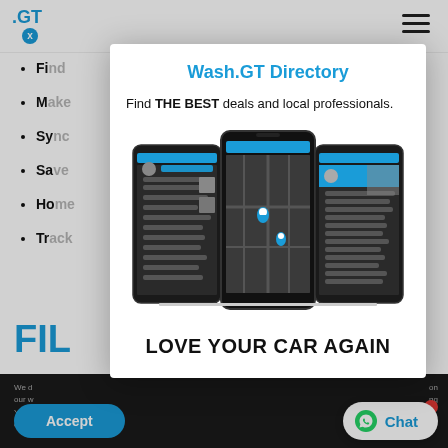[Figure (screenshot): Logo '.GT' with blue styling and X badge, hamburger menu icon top right, bullet list partially visible on left side, 'FIL' heading in blue, dark footer bar with text, Accept button, Chat button with WhatsApp icon]
Wash.GT Directory
Find THE BEST deals and local professionals.
[Figure (screenshot): Three smartphone screens showing the Wash.GT app interface with map view and menu listings]
LOVE YOUR CAR AGAIN